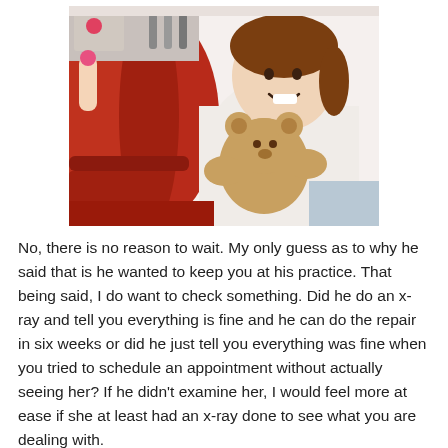[Figure (photo): A smiling young girl sitting in a red dental chair, holding a teddy bear. A dental professional's hand is visible in the background holding a small pink item. Dental equipment and supplies visible in the background.]
No, there is no reason to wait. My only guess as to why he said that is he wanted to keep you at his practice. That being said, I do want to check something. Did he do an x-ray and tell you everything is fine and he can do the repair in six weeks or did he just tell you everything was fine when you tried to schedule an appointment without actually seeing her? If he didn't examine her, I would feel more at ease if she at least had an x-ray done to see what you are dealing with.
If he examined her...